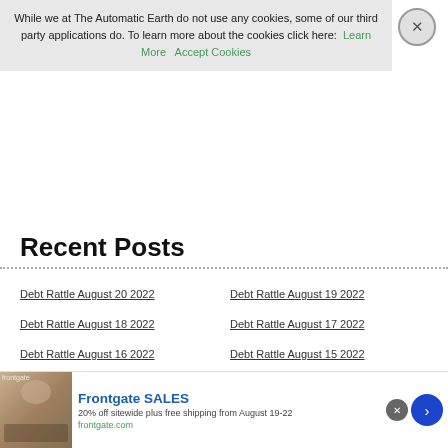While we at The Automatic Earth do not use any cookies, some of our third party applications do. To learn more about the cookies click here: Learn More  Accept Cookies
Recent Posts
Debt Rattle August 20 2022
Debt Rattle August 19 2022
Debt Rattle August 18 2022
Debt Rattle August 17 2022
Debt Rattle August 16 2022
Debt Rattle August 15 2022
Debt Rattle August 14 2022
Debt Rattle August 13 2022
[Figure (infographic): Frontgate SALES advertisement banner. Shows outdoor furniture image on left, text: Frontgate SALES, 20% off sitewide plus free shipping from August 19-22, frontgate.com]